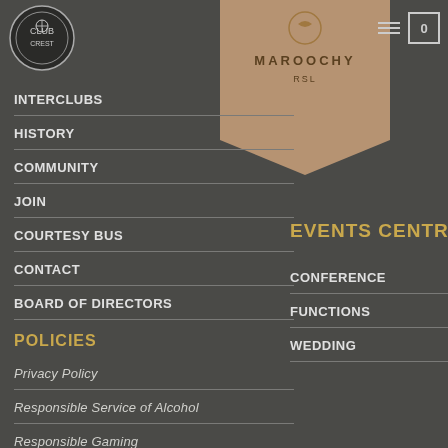[Figure (logo): Club crest logo, circular black and white badge on left]
[Figure (logo): Maroochy RSL gold banner/ribbon logo with text MAROOCHY and RSL]
INTERCLUBS
HISTORY
COMMUNITY
JOIN
COURTESY BUS
CONTACT
BOARD OF DIRECTORS
POLICIES
Privacy Policy
Responsible Service of Alcohol
Responsible Gaming
EVENTS CENTRE
CONFERENCE
FUNCTIONS
WEDDING